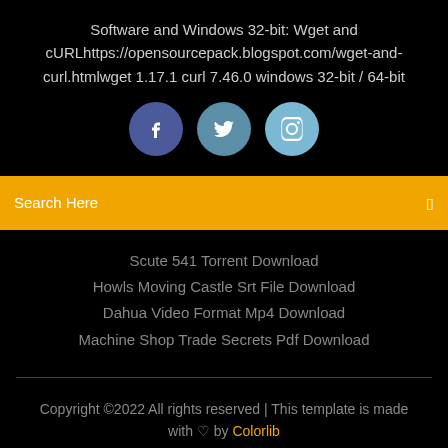Software and Windows 32-bit: Wget and cURLhttps://opensourcepack.blogspot.com/wget-and-curl.htmlwget 1.17.1 curl 7.46.0 windows 32-bit / 64-bit
[Figure (illustration): Three social media icon circles: Facebook (dark blue), Twitter (medium blue), Instagram (light blue)]
Search Here
Scute 541 Torrent Download
Howls Moving Castle Srt File Download
Dahua Video Format Mp4 Download
Machine Shop Trade Secrets Pdf Download
Copyright ©2022 All rights reserved | This template is made with ♡ by Colorlib